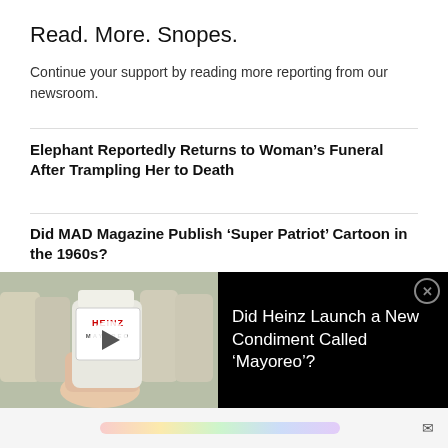Read. More. Snopes.
Continue your support by reading more reporting from our newsroom.
Elephant Reportedly Returns to Woman’s Funeral After Trampling Her to Death
Did MAD Magazine Publish ‘Super Patriot’ Cartoon in the 1960s?
Do Democrats Want ‘Open Borders’?
[Figure (screenshot): Ad banner showing a hand holding a Heinz Mayoreo condiment jar in a store, with a play button overlay, and text reading: Did Heinz Launch a New Condiment Called ‘Mayoreo’?]